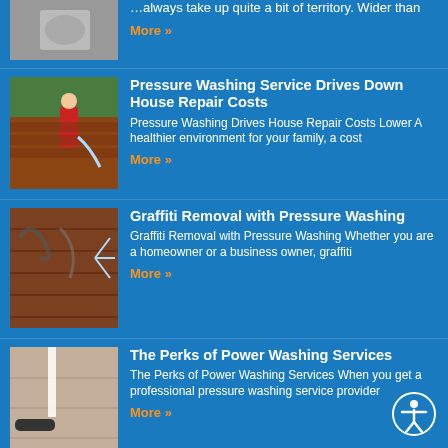…always take up quite a bit of territory. Wider than
More »
Pressure Washing Service Drives Down House Repair Costs
Pressure Washing Drives House Repair Costs Lower A healthier environment for your family, a cost
More »
Graffiti Removal with Pressure Washing
Graffiti Removal with Pressure Washing Whether you are a homeowner or a business owner, graffiti
More »
The Perks of Power Washing Services
The Perks of Power Washing Services When you get a professional pressure washing service provider
More »